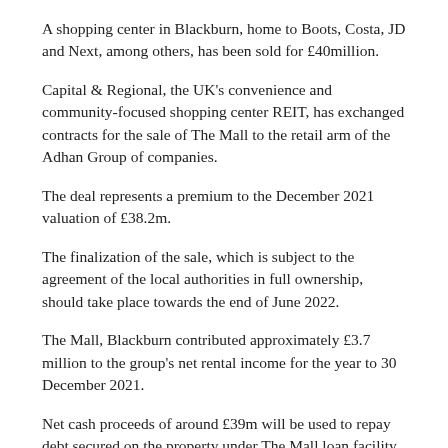A shopping center in Blackburn, home to Boots, Costa, JD and Next, among others, has been sold for £40million.
Capital & Regional, the UK's convenience and community-focused shopping center REIT, has exchanged contracts for the sale of The Mall to the retail arm of the Adhan Group of companies.
The deal represents a premium to the December 2021 valuation of £38.2m.
The finalization of the sale, which is subject to the agreement of the local authorities in full ownership, should take place towards the end of June 2022.
The Mall, Blackburn contributed approximately £3.7 million to the group's net rental income for the year to 30 December 2021.
Net cash proceeds of around £39m will be used to repay debt secured on the property under The Mall loan facility, with the sale also expected to reduce the group's net loan to value (LTV) ratio